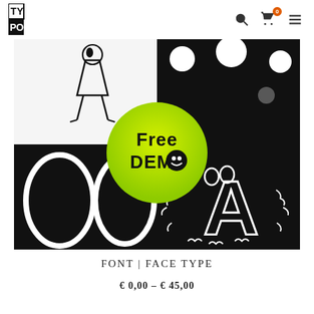TYPO | navigation icons: search, cart (0), menu
[Figure (illustration): Promotional font specimen image showing: top-left white background with hand-drawn stick figure character; top-right black background with white polka dots; center a yellow-green gradient circular badge reading 'Free DEMO' with a smiley emoji; bottom-left black background with two large white oval eyes; bottom-right black background with stylized outlined letter A with expressive eyes and squiggly decorations.]
FONT | FACE TYPE
€ 0,00 - € 45,00